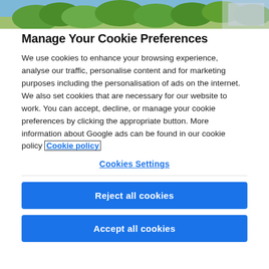[Figure (photo): Banner image showing green trees and blue sky at the top of the page]
Manage Your Cookie Preferences
We use cookies to enhance your browsing experience, analyse our traffic, personalise content and for marketing purposes including the personalisation of ads on the internet. We also set cookies that are necessary for our website to work. You can accept, decline, or manage your cookie preferences by clicking the appropriate button. More information about Google ads can be found in our cookie policy Cookie policy
Cookies Settings
Reject all cookies
Accept all cookies